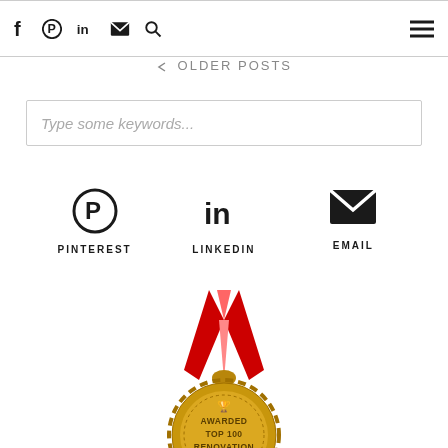f pinterest in email search hamburger-menu
← OLDER POSTS
Type some keywords...
[Figure (infographic): Social media icons row: Pinterest (circle P icon), LinkedIn (in icon), Email (envelope icon) with labels PINTEREST, LINKEDIN, EMAIL]
[Figure (illustration): Gold medal with red and white ribbon. Text on medal: AWARDED TOP 100 RENOVATION BLOG]